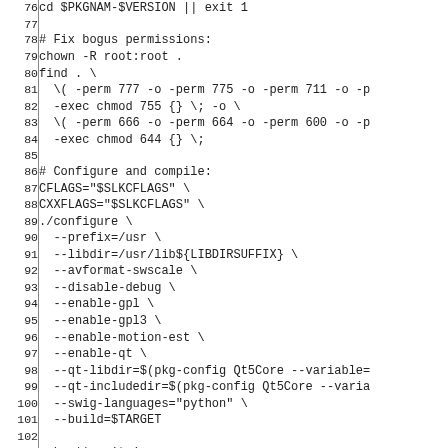[Figure (screenshot): Source code listing showing shell script lines 76-105 with line numbers, featuring commands for fixing permissions, configuring and compiling a package with flags and options.]